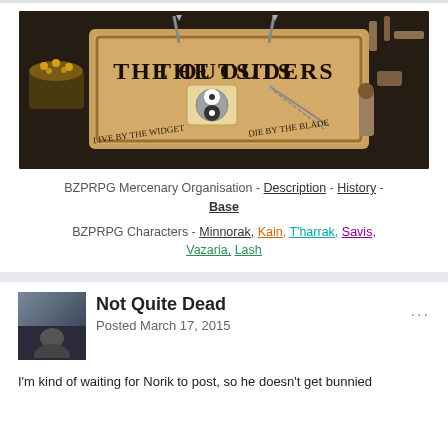[Figure (illustration): Banner image for 'The Outsiders' BZPRPG mercenary organisation, showing a wooden sign with the text 'THE OUTSIDERS – LIVE BY THE WIDGET, DIE BY THE BLADE' surrounded by fantasy items like treasure chests, tools, and wooden objects on a dark background.]
BZPRPG Mercenary Organisation - Description - History - Base
BZPRPG Characters - Minnorak, Kain, T'harrak, Savis, Vazaria, Lash
Not Quite Dead
Posted March 17, 2015
I'm kind of waiting for Norik to post, so he doesn't get bunnied